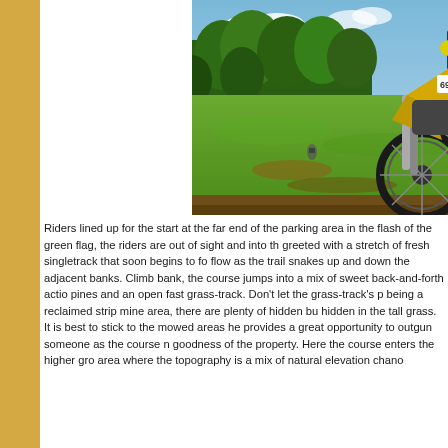[Figure (photo): A dirt bike/motocross rider on a yellow motorcycle airborne or jumping, with a green grassy open field and trees in the background under a partly cloudy sky. A second rider is visible in the far background on the field.]
Riders lined up for the start at the far end of the parking area in the flash of the green flag, the riders are out of sight and into the greeted with a stretch of fresh singletrack that soon begins to fo flow as the trail snakes up and down the adjacent banks. Climb bank, the course jumps into a mix of sweet back-and-forth actio pines and an open fast grass-track. Don't let the grass-track's p being a reclaimed strip mine area, there are plenty of hidden bu hidden in the tall grass. It is best to stick to the mowed areas he provides a great opportunity to outgun someone as the course n goodness of the property. Here the course enters the higher gro area where the topography is a mix of natural elevation chano